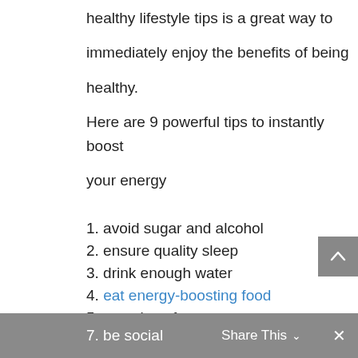healthy lifestyle tips is a great way to immediately enjoy the benefits of being healthy.
Here are 9 powerful tips to instantly boost your energy
1. avoid sugar and alcohol
2. ensure quality sleep
3. drink enough water
4. eat energy-boosting food
5. exercise often
6. limit stress using self-care and positive affirmation
7. be social
Share This  ×